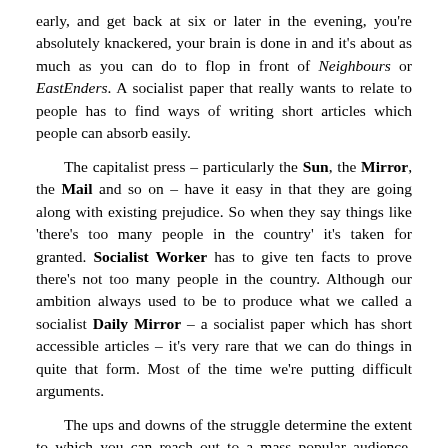early, and get back at six or later in the evening, you're absolutely knackered, your brain is done in and it's about as much as you can do to flop in front of Neighbours or EastEnders. A socialist paper that really wants to relate to people has to find ways of writing short articles which people can absorb easily.
The capitalist press – particularly the Sun, the Mirror, the Mail and so on – have it easy in that they are going along with existing prejudice. So when they say things like 'there's too many people in the country' it's taken for granted. Socialist Worker has to give ten facts to prove there's not too many people in the country. Although our ambition always used to be to produce what we called a socialist Daily Mirror – a socialist paper which has short accessible articles – it's very rare that we can do things in quite that form. Most of the time we're putting difficult arguments.
The ups and downs of the struggle determine the extent to which you can reach out to a mass popular audience. During the 1974 miners' strike we were not much against the stream. Everyone hated Edward Heath. In November 1990 when Thatcher fell we were not against the stream. We produced a front